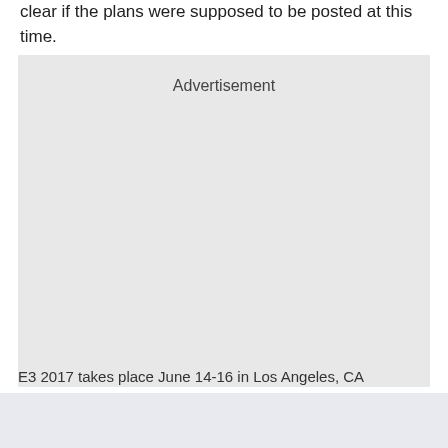clear if the plans were supposed to be posted at this time.
[Figure (other): Advertisement placeholder box with light gray background and 'Advertisement' label at the top center.]
E3 2017 takes place June 14-16 in Los Angeles, CA